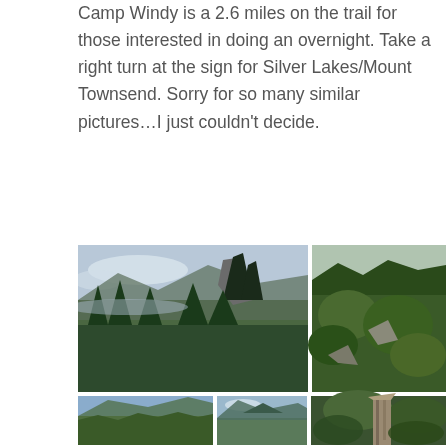Camp Windy is a 2.6 miles on the trail for those interested in doing an overnight. Take a right turn at the sign for Silver Lakes/Mount Townsend. Sorry for so many similar pictures...I just couldn't decide.
[Figure (photo): A collage of six outdoor mountain trail photographs showing forested mountain scenes, mountain views, hikers on a trail, and a weathered tree stump in a forest setting.]